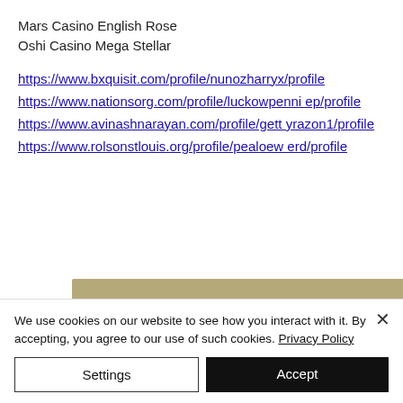Mars Casino English Rose
Oshi Casino Mega Stellar
https://www.bxquisit.com/profile/nunozharryx/profile
https://www.nationsorg.com/profile/luckowpenniep/profile
https://www.avinashnarayan.com/profile/gettyrazon1/profile
https://www.rolsonstlouis.org/profile/pealoewerd/profile
[Figure (other): Tan/khaki colored rectangular banner image, partially visible]
We use cookies on our website to see how you interact with it. By accepting, you agree to our use of such cookies. Privacy Policy
Settings
Accept